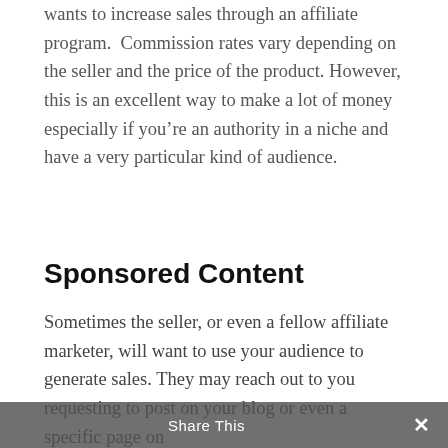wants to increase sales through an affiliate program.  Commission rates vary depending on the seller and the price of the product. However, this is an excellent way to make a lot of money especially if you're an authority in a niche and have a very particular kind of audience.
Sponsored Content
Sometimes the seller, or even a fellow affiliate marketer, will want to use your audience to generate sales. They may reach out to you requesting to post on your blog or even a specific page on
Share This